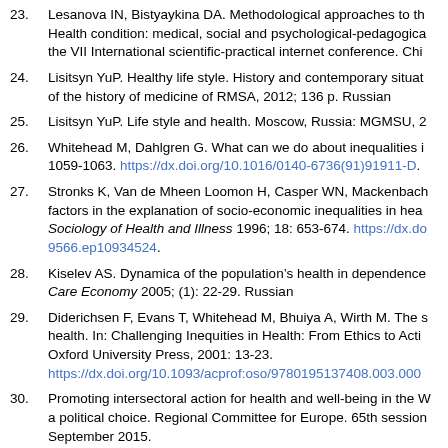23. Lesanova IN, Bistyaykina DA. Methodological approaches to the Health condition: medical, social and psychological-pedagogica... the VII International scientific-practical internet conference. Chi...
24. Lisitsyn YuP. Healthy life style. History and contemporary situat... of the history of medicine of RMSA, 2012; 136 p. Russian
25. Lisitsyn YuP. Life style and health. Moscow, Russia: MGMSU, 2...
26. Whitehead M, Dahlgren G. What can we do about inequalities i... 1059-1063. https://dx.doi.org/10.1016/0140-6736(91)91911-D...
27. Stronks K, Van de Mheen Loomon H, Casper WN, Mackenbach... factors in the explanation of socio-economic inequalities in hea... Sociology of Health and Illness 1996; 18: 653-674. https://dx.do... 9566.ep10934524.
28. Kiselev AS. Dynamica of the population’s health in dependence... Care Economy 2005; (1): 22-29. Russian
29. Diderichsen F, Evans T, Whitehead M, Bhuiya A, Wirth M. The s... health. In: Challenging Inequities in Health: From Ethics to Acti... Oxford University Press, 2001: 13-23. https://dx.doi.org/10.1093/acprof:oso/9780195137408.003.000...
30. Promoting intersectoral action for health and well-being in the W... a political choice. Regional Committee for Europe. 65th session... September 2015. https://...